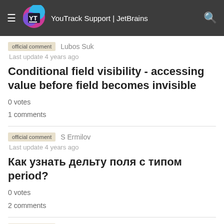YouTrack Support | JetBrains
official comment   Lubos Suk
Last update 4 years ago
Conditional field visibility - accessing value before field becomes invisible
0 votes
1 comments
official comment   S Ermilov
Last update 4 years ago
Как узнать дельту поля с типом period?
0 votes
2 comments
official comment   Lubos Suk